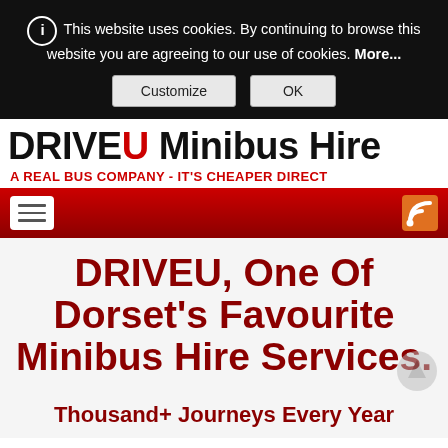This website uses cookies. By continuing to browse this website you are agreeing to our use of cookies. More...
Customize  OK
DRIVEU Minibus Hire
A REAL BUS COMPANY - IT'S CHEAPER DIRECT
[Figure (other): Red navigation bar with hamburger menu icon on left and RSS feed icon on right]
DRIVEU, One Of Dorset's Favourite Minibus Hire Services.
Thousand+ Journeys Every Year